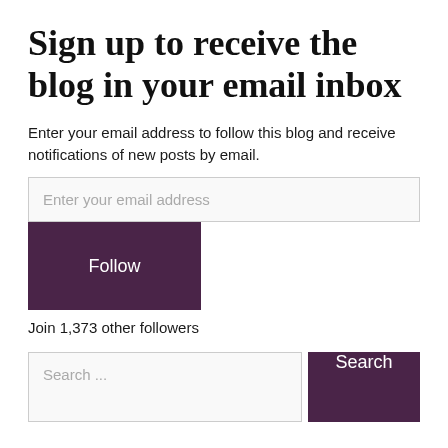Sign up to receive the blog in your email inbox
Enter your email address to follow this blog and receive notifications of new posts by email.
Enter your email address
Follow
Join 1,373 other followers
Search ...
Search
Recent Posts